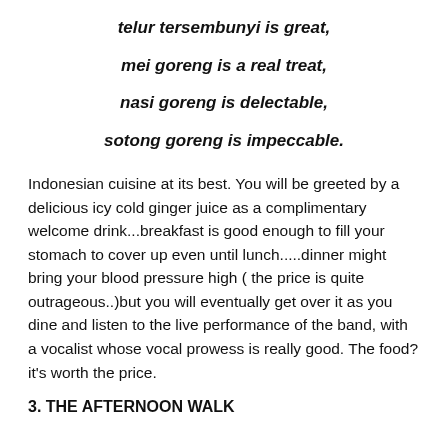telur tersembunyi is great,
mei goreng is a real treat,
nasi goreng is delectable,
sotong goreng is impeccable.
Indonesian cuisine at its best. You will be greeted by a delicious icy cold ginger juice as a complimentary welcome drink...breakfast is good enough to fill your stomach to cover up even until lunch.....dinner might bring your blood pressure high ( the price is quite outrageous..)but you will eventually get over it as you dine and listen to the live performance of the band, with a vocalist whose vocal prowess is really good. The food? it's worth the price.
3. THE AFTERNOON WALK